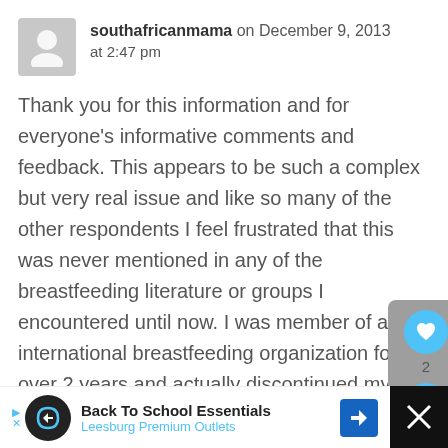southafricanmama on December 9, 2013 at 2:47 pm
Thank you for this information and for everyone's informative comments and feedback. This appears to be such a complex but very real issue and like so many of the other respondents I feel frustrated that this was never mentioned in any of the breastfeeding literature or groups I encountered until now. I was member of an international breastfeeding organization for over 2 years and actually discontinued my membership because of my
Back To School Essentials Leesburg Premium Outlets